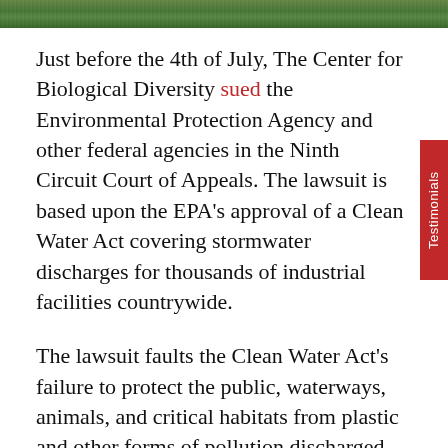[Figure (photo): Photo strip at top of page showing outdoor/nature scene in green tones]
Just before the 4th of July, The Center for Biological Diversity sued the Environmental Protection Agency and other federal agencies in the Ninth Circuit Court of Appeals.  The lawsuit is based upon the EPA's approval of a Clean Water Act covering stormwater discharges for thousands of industrial facilities countrywide.
The lawsuit faults the Clean Water Act's failure to protect the public, waterways, animals, and critical habitats from plastic and other forms of pollution discharged through industrial stormwater.  An attorney involved in the lawsuit claims the EPA simply reissued its 2015 permit and failed to consider the Center for Biological Diversity's recommendations. The lawsuit targets stormwater discharges into U.S. waters from industrial polluters